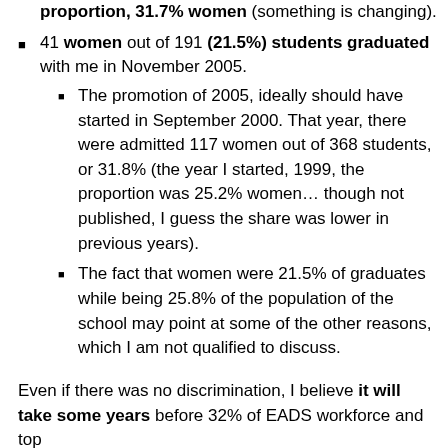proportion, 31.7% women (something is changing).
41 women out of 191 (21.5%) students graduated with me in November 2005.
The promotion of 2005, ideally should have started in September 2000. That year, there were admitted 117 women out of 368 students, or 31.8% (the year I started, 1999, the proportion was 25.2% women… though not published, I guess the share was lower in previous years).
The fact that women were 21.5% of graduates while being 25.8% of the population of the school may point at some of the other reasons, which I am not qualified to discuss.
Even if there was no discrimination, I believe it will take some years before 32% of EADS workforce and top